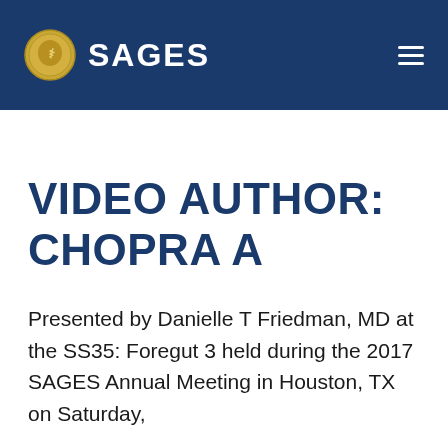SAGES
VIDEO AUTHOR: CHOPRA A
Presented by Danielle T Friedman, MD at the SS35: Foregut 3 held during the 2017 SAGES Annual Meeting in Houston, TX on Saturday,